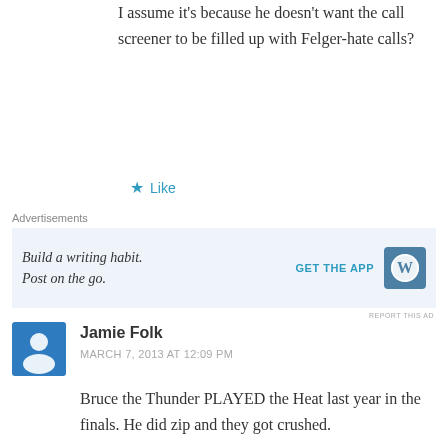I assume it's because he doesn't want the call screener to be filled up with Felger-hate calls?
Like
Advertisements
[Figure (other): WordPress app advertisement: 'Build a writing habit. Post on the go.' with GET THE APP button and WordPress logo]
REPORT THIS AD
Jamie Folk
MARCH 7, 2013 AT 12:09 PM
Bruce the Thunder PLAYED the Heat last year in the finals. He did zip and they got crushed.